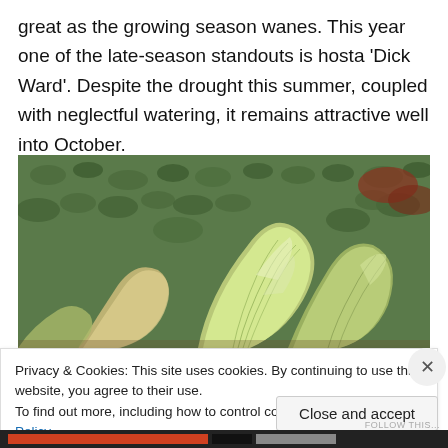great as the growing season wanes. This year one of the late-season standouts is hosta 'Dick Ward'. Despite the drought this summer, coupled with neglectful watering, it remains attractive well into October.
[Figure (photo): Close-up photograph of hosta 'Dick Ward' plant with large variegated green and white leaves showing prominent ribbing, surrounded by other garden plants with small green leaves in the background.]
Privacy & Cookies: This site uses cookies. By continuing to use this website, you agree to their use.
To find out more, including how to control cookies, see here: Cookie Policy